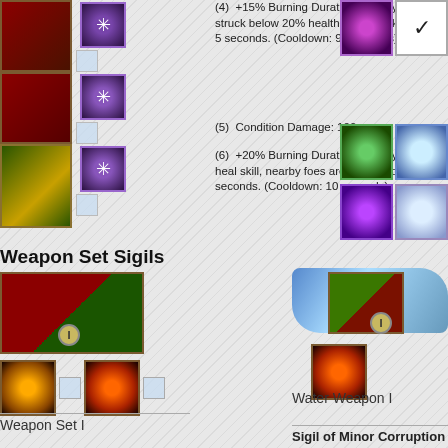(4) +15% Burning Duration; when you're struck below 20% health, gain quickness for 5 seconds. (Cooldown: 90 seconds)
(5) Condition Damage: 100
(6) +20% Burning Duration; when you use a heal skill, nearby foes are burned for 3 seconds. (Cooldown: 10 seconds)
Weapon Set Sigils
[Figure (illustration): Left weapon set icon - red/green dual weapon with I badge]
[Figure (illustration): Water Weapon I icon - blue swoosh with red/green weapon and I badge]
[Figure (illustration): Sigil icons row - fire swirl and fire sigil with dots]
[Figure (illustration): Right sigil icon - fire/corruption sigil]
Weapon Set I
Water Weapon I
Sigil of Minor Corruption